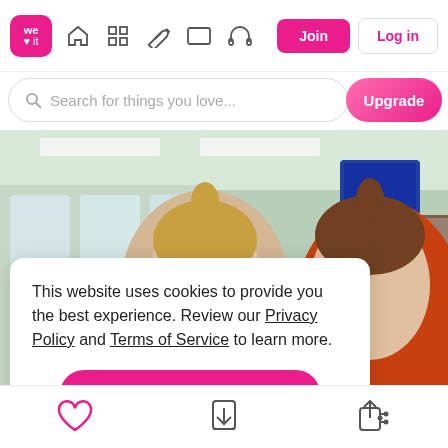[Figure (screenshot): We Heart It navigation bar with logo, icons for home, grid, feather, rectangle, headphones, Join button and Log in button]
[Figure (screenshot): Search bar with placeholder text 'Search for things you love...' and an Upgrade button]
[Figure (photo): Two young women in a convenience store, one wearing an orange hoodie holding a blue icy drink, shelves with snacks visible]
This website uses cookies to provide you the best experience. Review our Privacy Policy and Terms of Service to learn more.
Accept Cookies
Only users 16 years or older may use We Heart It.
[Figure (screenshot): Bottom action bar with heart icon, download icon, and share icon]